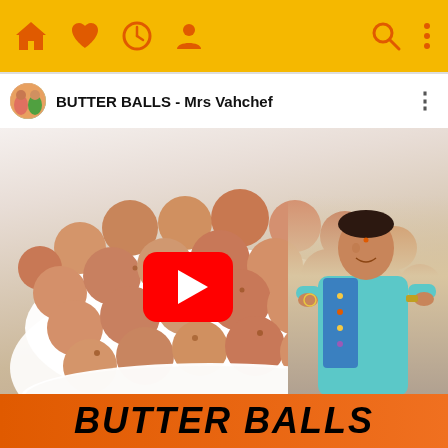[Figure (screenshot): Mobile app top navigation bar with yellow/amber background showing home, heart, clock, profile icons on the left and search, menu icons on the right, all in orange color]
[Figure (screenshot): YouTube video card showing 'BUTTER BALLS - Mrs Vahchef' with channel thumbnail, video thumbnail of butter balls snack in a white bowl, a woman (Mrs Vahchef) standing to the right, a YouTube play button in the center, and an orange banner at the bottom reading 'BUTTER BALLS' in bold black italic text]